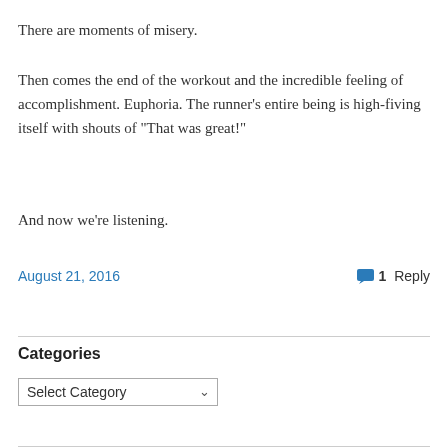There are moments of misery.
Then comes the end of the workout and the incredible feeling of accomplishment. Euphoria. The runner’s entire being is high-fiving itself with shouts of “That was great!”
And now we’re listening.
August 21, 2016   1 Reply
Categories